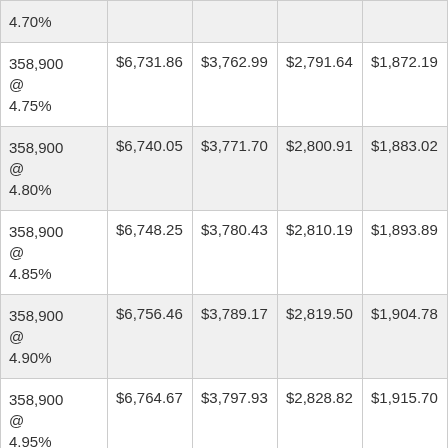| 4.70% |  |  |  |  |
| 358,900 @ 4.75% | $6,731.86 | $3,762.99 | $2,791.64 | $1,872.19 |
| 358,900 @ 4.80% | $6,740.05 | $3,771.70 | $2,800.91 | $1,883.02 |
| 358,900 @ 4.85% | $6,748.25 | $3,780.43 | $2,810.19 | $1,893.89 |
| 358,900 @ 4.90% | $6,756.46 | $3,789.17 | $2,819.50 | $1,904.78 |
| 358,900 @ 4.95% | $6,764.67 | $3,797.93 | $2,828.82 | $1,915.70 |
| 358,900 | $6,772.89 | $3,806.60 | $2,838.16 | $1,926.65 |